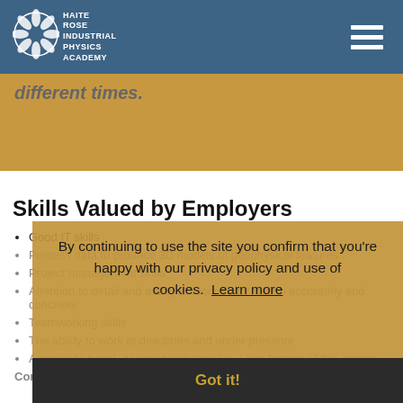Haite Rose Industrial Physics Academy
different times.
Skills Valued by Employers
Good IT skills
Process data to produce 3D models of geophysical features
Project management skills
Attention to detail and ability to record information accurately and concisely
Teamworking skills
The ability to work to deadlines and under pressure
A desire to travel, as worldwide travel is a key feature of this career
Commitment to continual learning
[Figure (screenshot): Cookie consent overlay banner with text: By continuing to use the site you confirm that you're happy with our privacy policy and use of cookies. Learn more. Got it! button.]